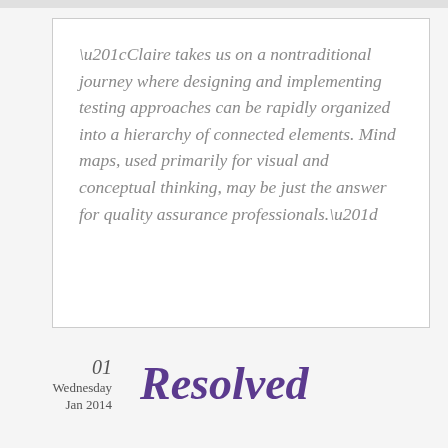“Claire takes us on a nontraditional journey where designing and implementing testing approaches can be rapidly organized into a hierarchy of connected elements. Mind maps, used primarily for visual and conceptual thinking, may be just the answer for quality assurance professionals.”
01 Wednesday Jan 2014 Resolved